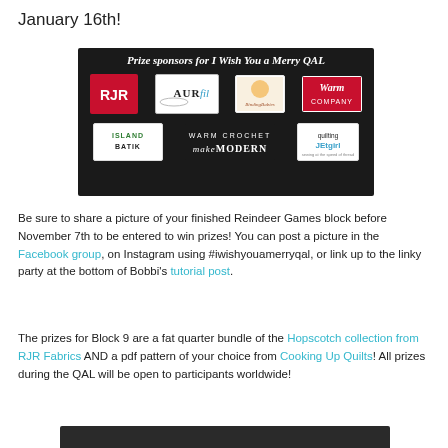January 16th!
[Figure (illustration): Prize sponsors banner for 'I Wish You a Merry QAL' showing logos: RJR, Aurifil, Binding Babies, Warm Company, Island Batik, Warm Crochet, Make Modern, Quilting Jetgirl on a dark background]
Be sure to share a picture of your finished Reindeer Games block before November 7th to be entered to win prizes! You can post a picture in the Facebook group, on Instagram using #iwishyouamerryqal, or link up to the linky party at the bottom of Bobbi's tutorial post.
The prizes for Block 9 are a fat quarter bundle of the Hopscotch collection from RJR Fabrics AND a pdf pattern of your choice from Cooking Up Quilts! All prizes during the QAL will be open to participants worldwide!